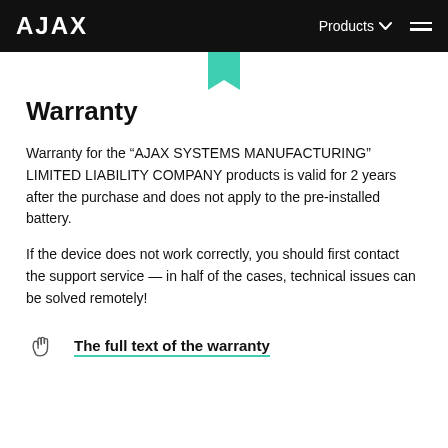AJAX | Products
[Figure (logo): Teal bookmark/ribbon icon at top center below nav bar]
Warranty
Warranty for the “AJAX SYSTEMS MANUFACTURING” LIMITED LIABILITY COMPANY products is valid for 2 years after the purchase and does not apply to the pre-installed battery.
If the device does not work correctly, you should first contact the support service — in half of the cases, technical issues can be solved remotely!
The full text of the warranty